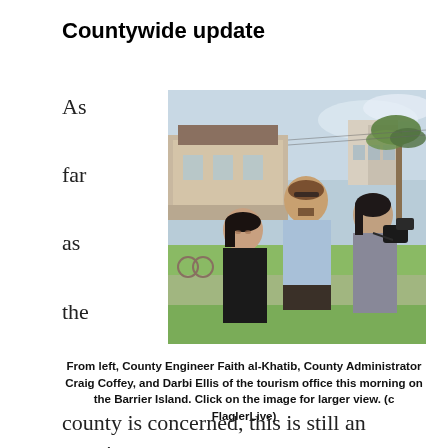Countywide update
As far as the
[Figure (photo): Three people walking outdoors on grass near a coastal area. From left: a woman in black jacket, a tall man in light blue shirt, and a young woman with a camera.]
From left, County Engineer Faith al-Khatib, County Administrator Craig Coffey, and Darbi Ellis of the tourism office this morning on the Barrier Island. Click on the image for larger view. (c FlaglerLive)
county is concerned, this is still an ongoing